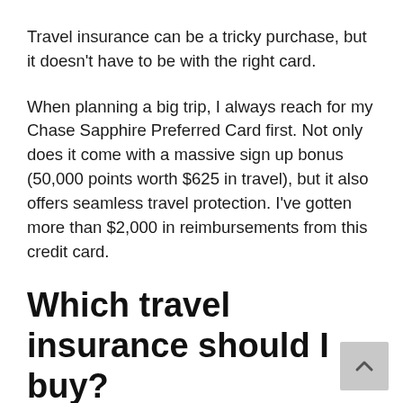Travel insurance can be a tricky purchase, but it doesn’t have to be with the right card.
When planning a big trip, I always reach for my Chase Sapphire Preferred Card first. Not only does it come with a massive sign up bonus (50,000 points worth $625 in travel), but it also offers seamless travel protection. I’ve gotten more than $2,000 in reimbursements from this credit card.
Which travel insurance should I buy?
Find the answer to this question using a travel insurance comparison tool, then write